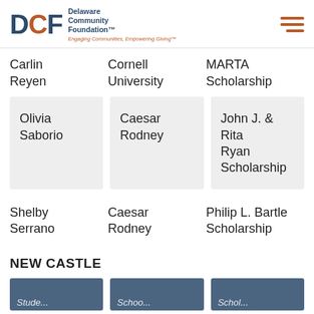DCF Delaware Community Foundation™ — Engaging Communities, Empowering Giving™
Carlin Reyen | Cornell University | MARTA Scholarship
Olivia Saborio | Caesar Rodney | John J. & Rita Ryan Scholarship
Shelby Serrano | Caesar Rodney | Philip L. Bartlett Scholarship
NEW CASTLE
[Figure (screenshot): Partial view of blue scholarship cards at bottom of page]